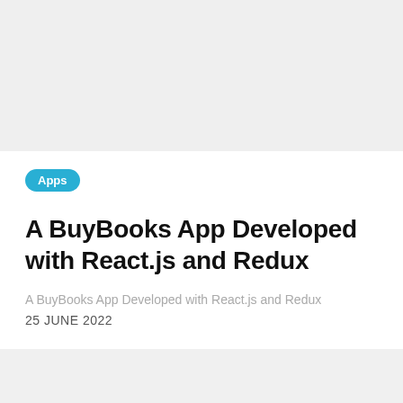Apps
A BuyBooks App Developed with React.js and Redux
A BuyBooks App Developed with React.js and Redux
25 JUNE 2022